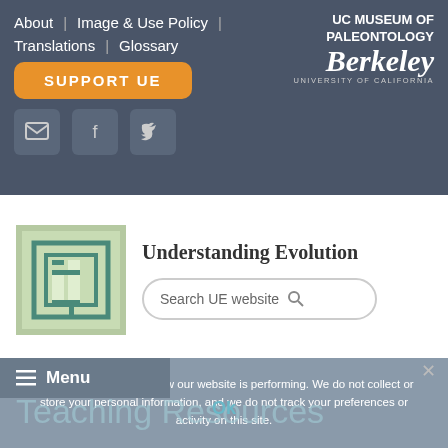About | Image & Use Policy | Translations | Glossary
[Figure (logo): UC Museum of Paleontology, Berkeley University of California logo]
SUPPORT UE
[Figure (infographic): Email, Facebook, Twitter social media icon buttons]
[Figure (logo): Understanding Evolution logo - stylized phylogenetic tree in teal square]
Understanding Evolution
Search UE website
We use cookies to see how our website is performing. We do not collect or store your personal information, and we do not track your preferences or activity on this site.
Menu
Ok
Teaching Resources